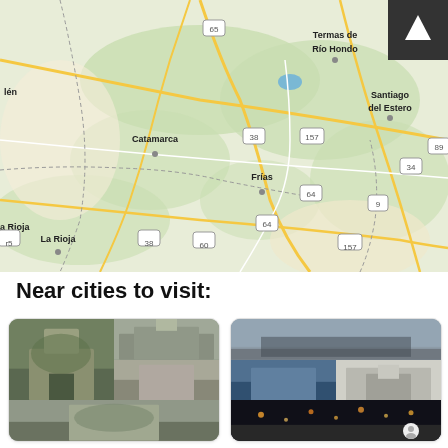[Figure (map): Google Maps view of Santiago del Estero region in Argentina showing cities: Termas de Río Hondo, Santiago del Estero, Catamarca, Frías, La Rioja, and route numbers 38, 60, 64, 65, 157, 34, 9, 89. Shows green terrain, yellow roads, blue lake/water body.]
Near cities to visit:
[Figure (photo): Collage of photos of a nearby city (city 1) showing historic architecture, monuments, and landmarks]
[Figure (photo): Collage of photos of a nearby city (city 2) showing cityscape, buildings, and nightscape]